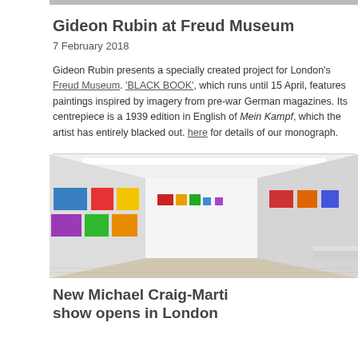[Figure (photo): Top image strip partially visible at the top of the right column]
Gideon Rubin at Freud Museum
7 February 2018
Gideon Rubin presents a specially created project for London's Freud Museum. 'BLACK BOOK', which runs until 15 April, features paintings inspired by imagery from pre-war German magazines. Its centrepiece is a 1939 edition in English of Mein Kampf, which the artist has entirely blacked out. Click here for details of our monograph.
[Figure (photo): Gallery interior showing colorful artworks hung on white walls with wooden floor, bright ceiling lighting]
New Michael Craig-Martin show opens in London